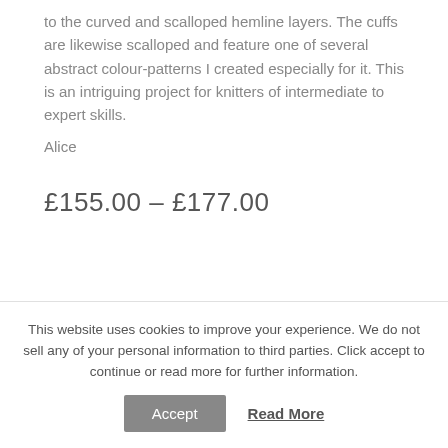to the curved and scalloped hemline layers. The cuffs are likewise scalloped and feature one of several abstract colour-patterns I created especially for it. This is an intriguing project for knitters of intermediate to expert skills.
Alice
£155.00 – £177.00
Sweater Size   Small
This website uses cookies to improve your experience. We do not sell any of your personal information to third parties. Click accept to continue or read more for further information.
Accept   Read More